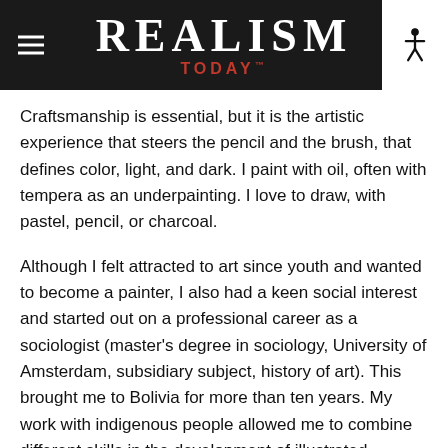REALISM TODAY
Craftsmanship is essential, but it is the artistic experience that steers the pencil and the brush, that defines color, light, and dark. I paint with oil, often with tempera as an underpainting. I love to draw, with pastel, pencil, or charcoal.
Although I felt attracted to art since youth and wanted to become a painter, I also had a keen social interest and started out on a professional career as a sociologist (master's degree in sociology, University of Amsterdam, subsidiary subject, history of art). This brought me to Bolivia for more than ten years. My work with indigenous people allowed me to combine different skills in the development of illustrated education material.
On one of my trips, looking out from a plane window on the